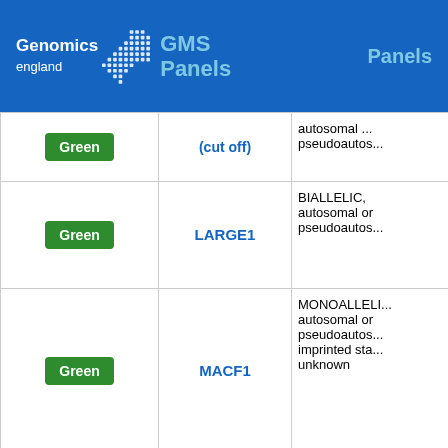Genomics England GMS Panels Panels
| Rating | Gene | Mode of Inheritance |
| --- | --- | --- |
| Green | (partial, cut off) | autosomal or pseudoautos... |
| Green | LARGE1 | BIALLELIC, autosomal or pseudoautos... |
| Green | MACF1 | MONOALLELIC, autosomal or pseudoautos... imprinted status unknown |
| Green | MAP1B | MONOALLELIC, autosomal or pseudoautos... NOT imprinted |